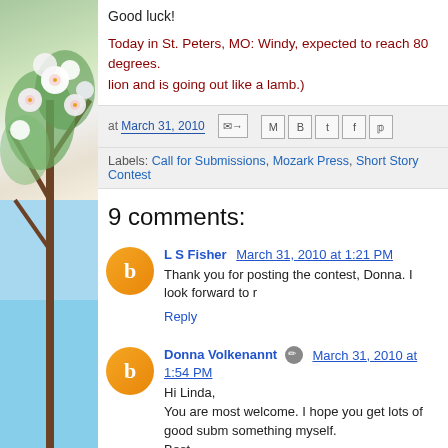[Figure (photo): Sidebar with cherry blossom flowers and blue sky background]
Good luck!
Today in St. Peters, MO: Windy, expected to reach 80 degrees. lion and is going out like a lamb.)
at March 31, 2010  [share icons]
Labels: Call for Submissions, Mozark Press, Short Story Contest
9 comments:
L S Fisher  March 31, 2010 at 1:21 PM
Thank you for posting the contest, Donna. I look forward to r
Reply
Donna Volkenannt  March 31, 2010 at 1:54 PM
Hi Linda,
You are most welcome. I hope you get lots of good subm something myself.
Best,
Donna